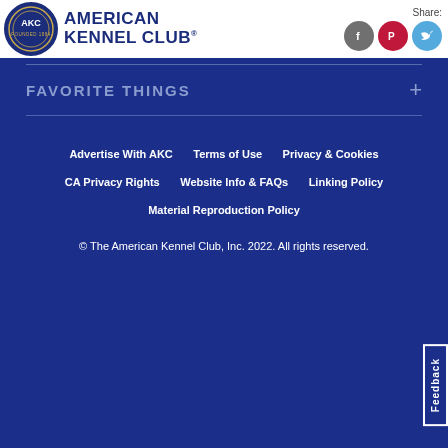[Figure (logo): American Kennel Club logo with circular seal and text]
Share:
[Figure (infographic): Social media share icons: Facebook (grey), Pinterest (red), Twitter (light blue)]
FAVORITE THINGS
Advertise With AKC   Terms of Use   Privacy & Cookies   CA Privacy Rights   Website Info & FAQs   Linking Policy   Material Reproduction Policy
© The American Kennel Club, Inc. 2022. All rights reserved.
Feedback